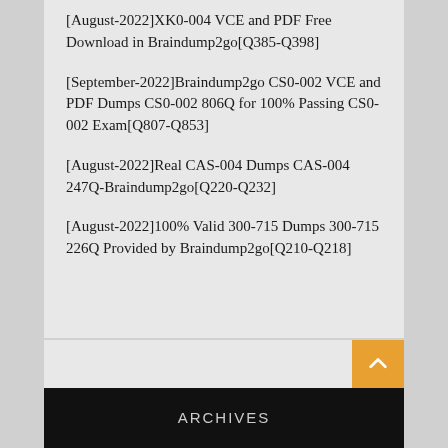[August-2022]XK0-004 VCE and PDF Free Download in Braindump2go[Q385-Q398]
[September-2022]Braindump2go CS0-002 VCE and PDF Dumps CS0-002 806Q for 100% Passing CS0-002 Exam[Q807-Q853]
[August-2022]Real CAS-004 Dumps CAS-004 247Q-Braindump2go[Q220-Q232]
[August-2022]100% Valid 300-715 Dumps 300-715 226Q Provided by Braindump2go[Q210-Q218]
ARCHIVES